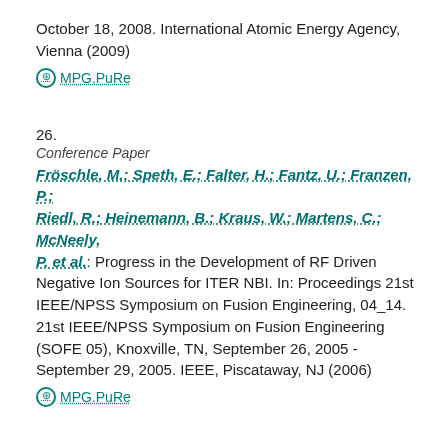October 18, 2008. International Atomic Energy Agency, Vienna (2009)
⊙ MPG.PuRe
26.
Conference Paper
Fröschle, M.; Speth, E.; Falter, H.; Fantz, U.; Franzen, P.; Riedl, R.; Heinemann, B.; Kraus, W.; Martens, C.; McNeely, P. et al.: Progress in the Development of RF Driven Negative Ion Sources for ITER NBI. In: Proceedings 21st IEEE/NPSS Symposium on Fusion Engineering, 04_14. 21st IEEE/NPSS Symposium on Fusion Engineering (SOFE 05), Knoxville, TN, September 26, 2005 - September 29, 2005. IEEE, Piscataway, NJ (2006)
⊙ MPG.PuRe
27.
Conference Paper